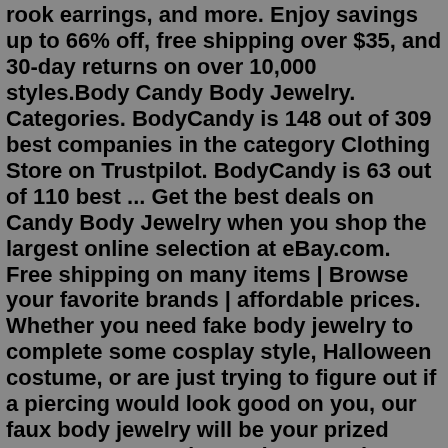rook earrings, and more. Enjoy savings up to 66% off, free shipping over $35, and 30-day returns on over 10,000 styles.Body Candy Body Jewelry. Categories. BodyCandy is 148 out of 309 best companies in the category Clothing Store on Trustpilot. BodyCandy is 63 out of 110 best ... Get the best deals on Candy Body Jewelry when you shop the largest online selection at eBay.com. Free shipping on many items | Browse your favorite brands | affordable prices. Whether you need fake body jewelry to complete some cosplay style, Halloween costume, or are just trying to figure out if a piercing would look good on you, our faux body jewelry will be your prized accessory! ... Body Candy Apparel; Bracelets. Ankle Bracelets. College Teams. Create Your Own. Cuff Links Money Clips. Men's. NFL Football. Slider ...Buy body jewelry online. Belly button rings, belly rings, wholesale body jewelry, body piercing jewelry, piercing jewelry, navel rings, tongue rings Affordable and Quality Body Jewelry for Everyone . Body Candy NY is an American, family owned business based in